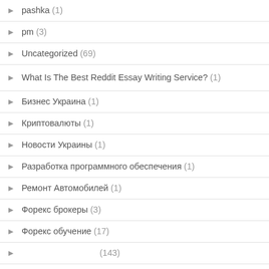pashka (1)
pm (3)
Uncategorized (69)
What Is The Best Reddit Essay Writing Service? (1)
Бизнес Украина (1)
Криптовалюты (1)
Новости Украины (1)
Разработка программного обеспечения (1)
Ремонт Автомобилей (1)
Форекс брокеры (3)
Форекс обучение (17)
(143)
(62)